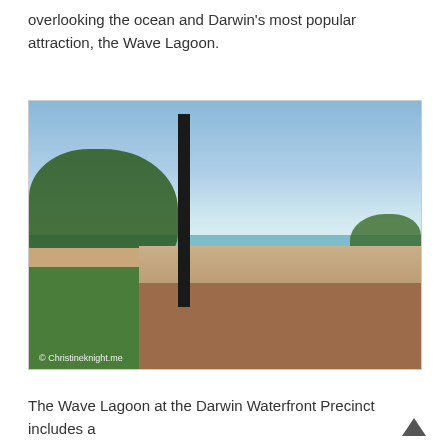overlooking the ocean and Darwin’s most popular attraction, the Wave Lagoon.
[Figure (photo): A scenic coastal walkway in Darwin with a brick path curved alongside a stone retaining wall, green lawn on the left, a tall black lamp post, trees, and the ocean visible in the background under a clear blue sky. Watermark reads © Christineknight.me]
The Wave Lagoon at the Darwin Waterfront Precinct includes a